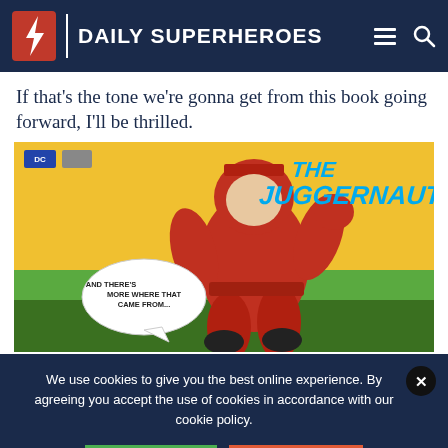Daily Superheroes
If that’s the tone we’re gonna get from this book going forward, I’ll be thrilled.
[Figure (illustration): Comic book panel showing The Juggernaut character in red suit running, with speech bubble saying 'AND THERE'S MORE WHERE THAT CAME FROM...', set against a green and yellow background. DC Comics logo visible in top left corner.]
We use cookies to give you the best online experience. By agreeing you accept the use of cookies in accordance with our cookie policy.
I ACCEPT
I DECLINE
Privacy Settings  Cookie Policy